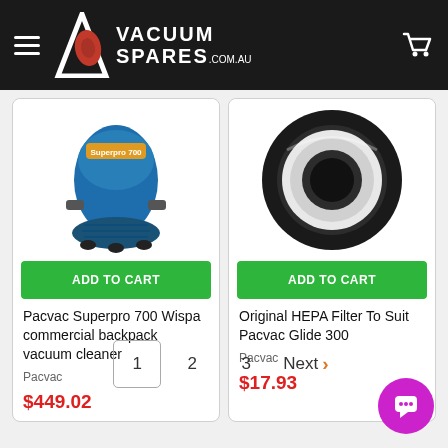Vacuum Spares .com.au
[Figure (photo): Pacvac Superpro 700 Wispa blue commercial backpack vacuum cleaner]
ADD TO CART
Pacvac Superpro 700 Wispa commercial backpack vacuum cleaner
Pacvac
$449.02
[Figure (photo): Original HEPA Filter circular black filter to suit Pacvac Glide 300]
ADD TO CART
Original HEPA Filter To Suit Pacvac Glide 300
Pacvac
$17.93
1   2   3   Next >